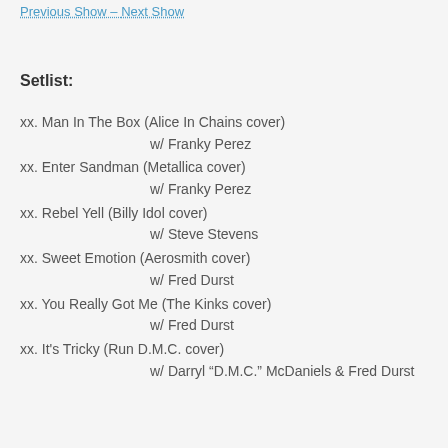Previous Show – Next Show
Setlist:
xx. Man In The Box (Alice In Chains cover)
    w/ Franky Perez
xx. Enter Sandman (Metallica cover)
    w/ Franky Perez
xx. Rebel Yell (Billy Idol cover)
    w/ Steve Stevens
xx. Sweet Emotion (Aerosmith cover)
    w/ Fred Durst
xx. You Really Got Me (The Kinks cover)
    w/ Fred Durst
xx. It's Tricky (Run D.M.C. cover)
    w/ Darryl “D.M.C.” McDaniels & Fred Durst